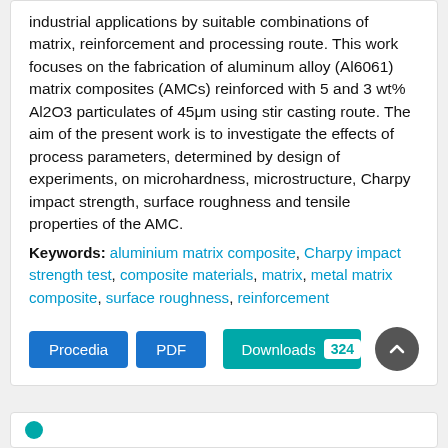industrial applications by suitable combinations of matrix, reinforcement and processing route. This work focuses on the fabrication of aluminum alloy (Al6061) matrix composites (AMCs) reinforced with 5 and 3 wt% Al2O3 particulates of 45μm using stir casting route. The aim of the present work is to investigate the effects of process parameters, determined by design of experiments, on microhardness, microstructure, Charpy impact strength, surface roughness and tensile properties of the AMC.
Keywords: aluminium matrix composite, Charpy impact strength test, composite materials, matrix, metal matrix composite, surface roughness, reinforcement
Procedia | PDF | Downloads 324